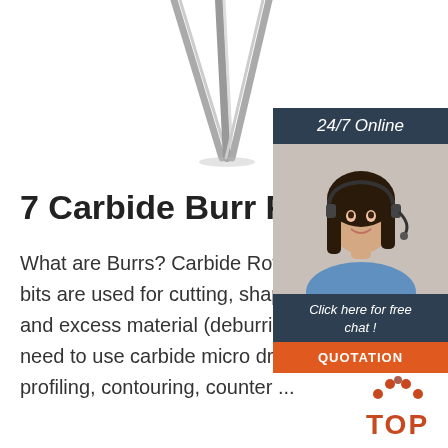[Figure (photo): Three carbide burr/drill bits shown from above, arranged in a fan pattern on white background]
[Figure (photo): Sidebar with dark blue header '24/7 Online', photo of female customer service representative with headset, dark blue box with italic text 'Click here for free chat !', orange button labeled 'QUOTATION']
7 Carbide Burr Facts
What are Burrs? Carbide Rotary Burrs are often referred to as rotary files or die grinder bits are used for cutting, shaping and grinding, and for the removal of sharp edges, burrs and excess material (deburring).. Helpful notes: For drilling holes in hard metals you would need to use carbide micro drills or carbide straight shank drills.For cutting slots, routing, profiling, contouring, counter ...
[Figure (logo): Orange and dark red 'TOP' badge with dots arranged in arc above the text]